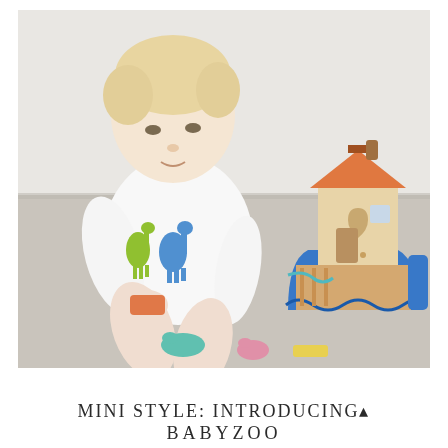[Figure (photo): A baby/toddler in a white long-sleeve onesie with colorful giraffe prints sits on a beige carpet. The baby is looking down at colorful toy animal pieces in their hands. Nearby is a wooden Noah's Ark toy with a blue boat base, tan/beige house structure with an orange roof, and small colorful animal-shaped pieces scattered on the floor (teal, pink, yellow).]
MINI STYLE: INTRODUCING^
BABYZOO